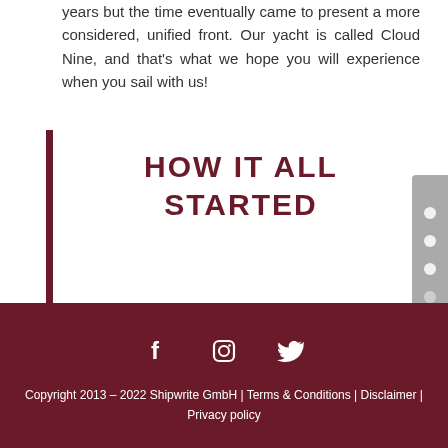years but the time eventually came to present a more considered, unified front. Our yacht is called Cloud Nine, and that's what we hope you will experience when you sail with us!
HOW IT ALL STARTED
Copyright 2013 - 2022 Shipwrite GmbH | Terms & Conditions | Disclaimer | Privacy policy